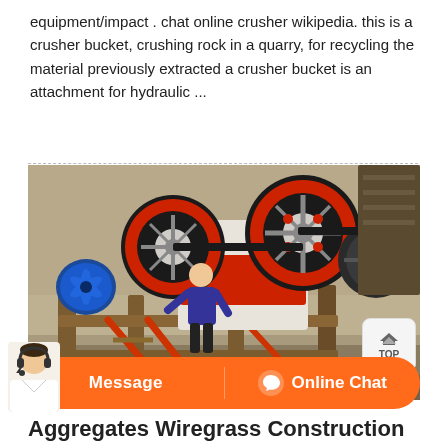equipment/impact . chat online crusher wikipedia. this is a crusher bucket, crushing rock in a quarry, for recycling the material previously extracted a crusher bucket is an attachment for hydraulic ...
[Figure (photo): Industrial jaw crusher machine mounted on a steel frame structure. A worker is leaning over the machinery. Large red-and-black flywheels are visible. A blue electric motor is on the left side. Red support beams and wooden ladder visible at bottom.]
Message    Online Chat
Aggregates Wiregrass Construction